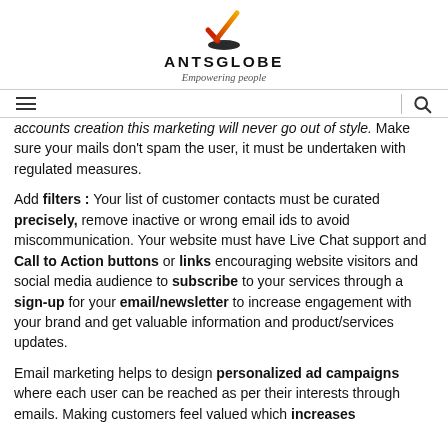[Figure (logo): AntsGlobe logo with orange and red checkmark above a dark oval base, with text ANTSGLOBE and tagline Empowering people]
ANTSGLOBE — Empowering people
accounts creation this marketing will never go out of style. Make sure your mails don't spam the user, it must be undertaken with regulated measures.
Add filters : Your list of customer contacts must be curated precisely, remove inactive or wrong email ids to avoid miscommunication. Your website must have Live Chat support and Call to Action buttons or links encouraging website visitors and social media audience to subscribe to your services through a sign-up for your email/newsletter to increase engagement with your brand and get valuable information and product/services updates.
Email marketing helps to design personalized ad campaigns where each user can be reached as per their interests through emails. Making customers feel valued which increases